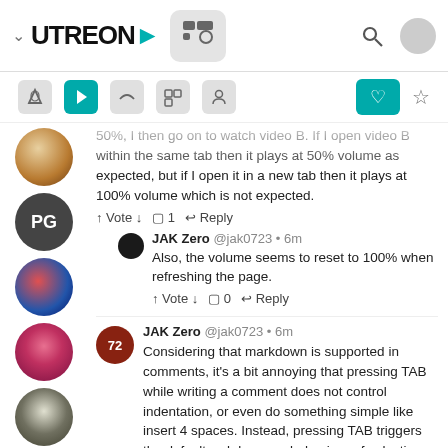UTREON navigation bar with logo, icons, search, and user avatar
50%, I then go on to watch video B. If I open video B within the same tab then it plays at 50% volume as expected, but if I open it in a new tab then it plays at 100% volume which is not expected.
↑ Vote ↓  □ 1  ↩ Reply
JAK Zero @jak0723 • 6m
Also, the volume seems to reset to 100% when refreshing the page.
↑ Vote ↓  □ 0  ↩ Reply
JAK Zero @jak0723 • 6m
Considering that markdown is supported in comments, it's a bit annoying that pressing TAB while writing a comment does not control indentation, or even do something simple like insert 4 spaces. Instead, pressing TAB triggers the default web browser behaviour of selecting the next link in the page, in this case in selects the link to the markdown cheat sheet underneath the comment text box.
Markdown list test: